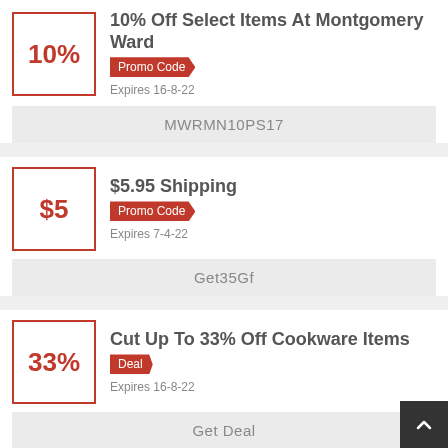10% Off Select Items At Montgomery Ward – Promo Code – Expires 16-8-22 – Code: MWRMN10PS17
$5.95 Shipping – Promo Code – Expires 7-4-22 – Code: Get35Gf
Cut Up To 33% Off Cookware Items – Deal – Expires 16-8-22 – Code: Get Deal
20% Off Your Online Purchase At Mont